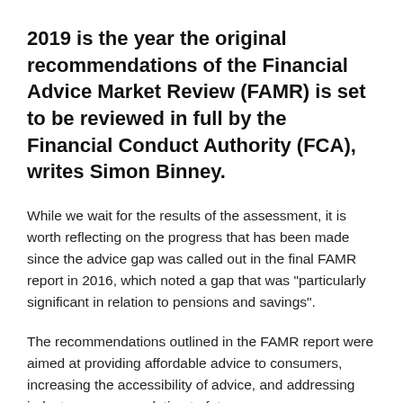2019 is the year the original recommendations of the Financial Advice Market Review (FAMR) is set to be reviewed in full by the Financial Conduct Authority (FCA), writes Simon Binney.
While we wait for the results of the assessment, it is worth reflecting on the progress that has been made since the advice gap was called out in the final FAMR report in 2016, which noted a gap that was "particularly significant in relation to pensions and savings".
The recommendations outlined in the FAMR report were aimed at providing affordable advice to consumers, increasing the accessibility of advice, and addressing industry concerns relating to future